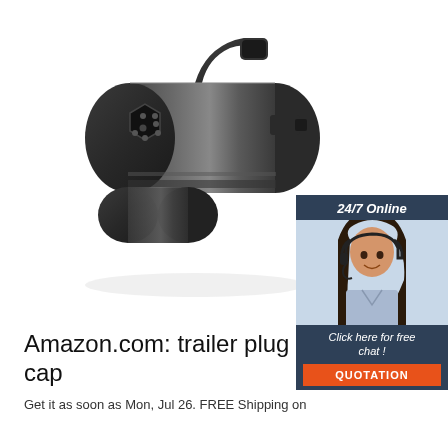[Figure (photo): Black plastic 7-pin trailer plug cap connector shown at an angle, displaying the front socket opening with hexagonal pin arrangement and a locking lever on top]
[Figure (infographic): Advertisement banner with dark blue background showing '24/7 Online' text, a smiling woman with a headset, 'Click here for free chat!' text, and an orange QUOTATION button]
Amazon.com: trailer plug cap
Get it as soon as Mon, Jul 26. FREE Shipping on